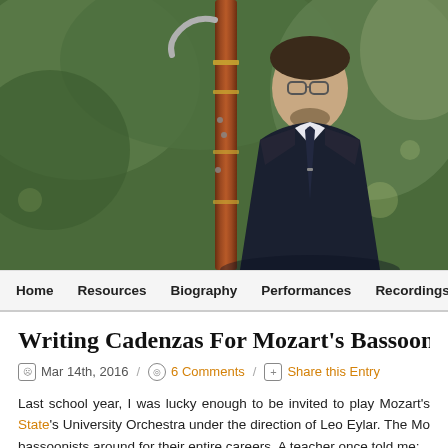[Figure (photo): A man in a dark suit holding a tall bassoon instrument, standing outdoors with green trees in the background. He wears glasses and has a beard, looking seriously at the camera.]
Home  Resources  Biography  Performances  Recordings
Writing Cadenzas For Mozart's Bassoon Co
Mar 14th, 2016  /  6 Comments  /  Share this Entry
Last school year, I was lucky enough to be invited to play Mozart's State's University Orchestra under the direction of Leo Eylar. The Mo bassoonists around for their entire careers. A teacher once told me: